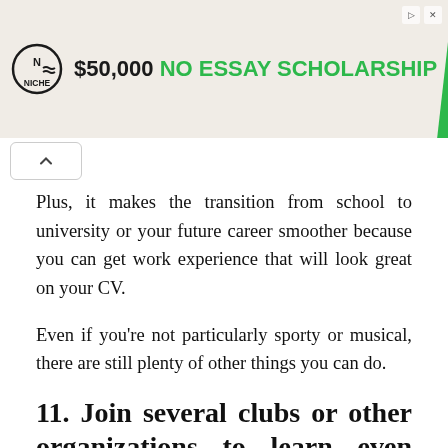[Figure (other): Niche $50,000 No Essay Scholarship advertisement banner with deadline Sept 30, 2022]
Plus, it makes the transition from school to university or your future career smoother because you can get work experience that will look great on your CV.
Even if you’re not particularly sporty or musical, there are still plenty of other things you can do.
11. Join several clubs or other organizations to learn even more about your interests and make new friends:
It’s a big decision to join one or multiple clubs, but the latter is generally the best option because you’ll be exposed to